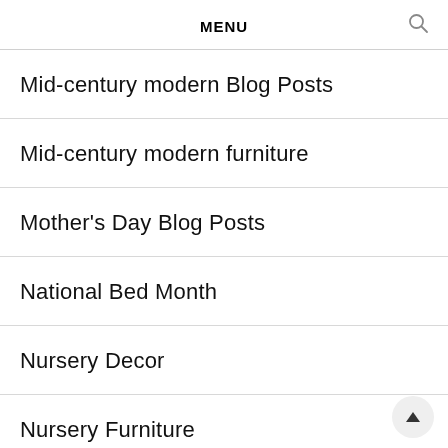MENU
Mid-century modern Blog Posts
Mid-century modern furniture
Mother's Day Blog Posts
National Bed Month
Nursery Decor
Nursery Furniture
Outdoor Entertaining Blog Posts